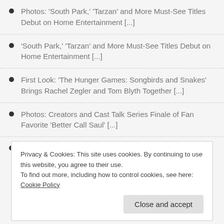Photos: 'South Park,' 'Tarzan' and More Must-See Titles Debut on Home Entertainment [...]
'South Park,' 'Tarzan' and More Must-See Titles Debut on Home Entertainment [...]
First Look: 'The Hunger Games: Songbirds and Snakes' Brings Rachel Zegler and Tom Blyth Together [...]
Photos: Creators and Cast Talk Series Finale of Fan Favorite 'Better Call Saul' [...]
Creators and Cast Talk Series Finale of Fan Favorite 'Better Call Saul' [...]
Privacy & Cookies: This site uses cookies. By continuing to use this website, you agree to their use.
To find out more, including how to control cookies, see here: Cookie Policy
Close and accept